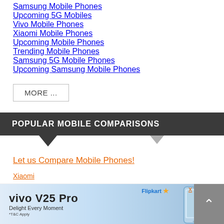Samsung Mobile Phones
Upcoming 5G Mobiles
Vivo Mobile Phones
Xiaomi Mobile Phones
Upcoming Mobile Phones
Trending Mobile Phones
Samsung 5G Mobile Phones
Upcoming Samsung Mobile Phones
MORE ...
POPULAR MOBILE COMPARISONS
Let us Compare Mobile Phones!
Xiaomi
Xiaomi
[Figure (screenshot): Advertisement banner for vivo V25 Pro on Flipkart. Text: vivo V25 Pro, Delight Every Moment, *T&C Apply, Flipkart logo with star icon, and image of the phone.]